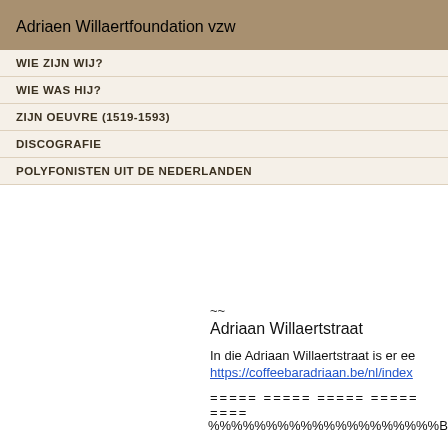Adriaen Willaert foundation vzw
WIE ZIJN WIJ?
WIE WAS HIJ?
ZIJN OEUVRE (1519-1593)
DISCOGRAFIE
POLYFONISTEN UIT DE NEDERLANDEN
Adriaan Willaertstraat
In die Adriaan Willaertstraat is er ee
https://coffeebaradriaan.be/nl/index
===== ===== ===== ===== ====
%%%%%%%%%%%%%%%%%%%%B